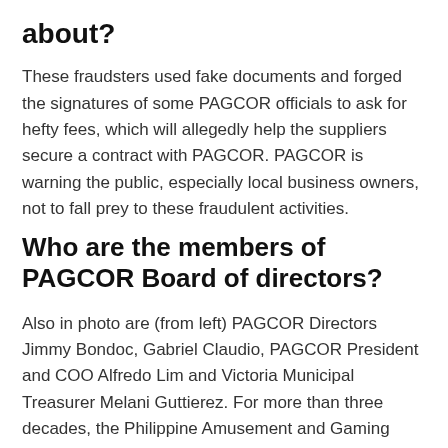about?
These fraudsters used fake documents and forged the signatures of some PAGCOR officials to ask for hefty fees, which will allegedly help the suppliers secure a contract with PAGCOR. PAGCOR is warning the public, especially local business owners, not to fall prey to these fraudulent activities.
Who are the members of PAGCOR Board of directors?
Also in photo are (from left) PAGCOR Directors Jimmy Bondoc, Gabriel Claudio, PAGCOR President and COO Alfredo Lim and Victoria Municipal Treasurer Melani Guttierez. For more than three decades, the Philippine Amusement and Gaming Corporation (PAGCOR) has been one of the